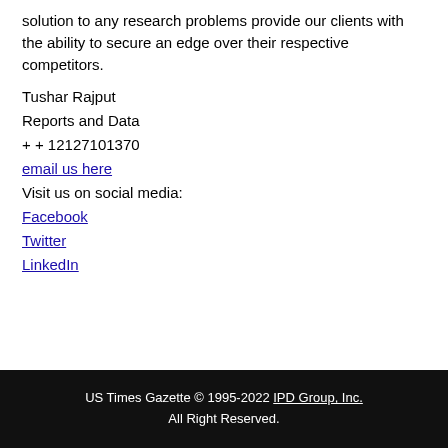solution to any research problems provide our clients with the ability to secure an edge over their respective competitors.
Tushar Rajput
Reports and Data
+ + 12127101370
email us here
Visit us on social media:
Facebook
Twitter
LinkedIn
US Times Gazette © 1995-2022 IPD Group, Inc. All Right Reserved.